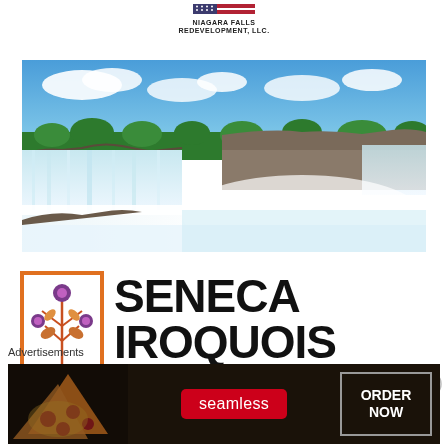[Figure (logo): Niagara Falls Redevelopment LLC logo with American flag-style graphic and text]
[Figure (photo): Panoramic photo of Niagara Falls showing the waterfall, mist, blue sky with clouds, and green trees]
[Figure (logo): Seneca Iroquois National Museum logo with decorative plant/floral motif in orange, red, purple and text SENECA IROQUOIS NATIONAL MUSEUM]
Advertisements
[Figure (photo): Seamless food delivery advertisement banner with pizza image, red Seamless button, and ORDER NOW button]